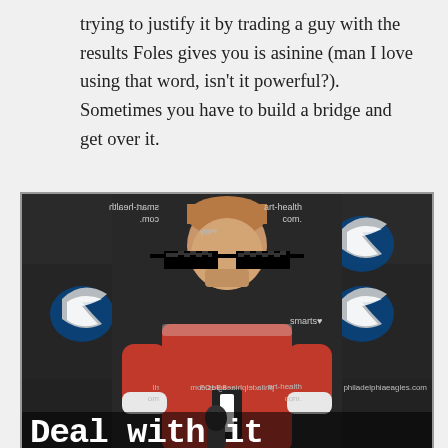trying to justify it by trading a guy with the results Foles gives you is asinine (man I love using that word, isn't it powerful?). Sometimes you have to build a bridge and get over it.
[Figure (photo): Meme photo of Nick Foles at a Philadelphia Eagles press conference wearing a red jersey with number 1, with pixelated 8-bit sunglasses overlaid on his face. Text 'Deal with it' appears at the bottom in pixel/bold font. Background shows mirrored Eagles sponsor banners and Philadelphia Eagles logos.]